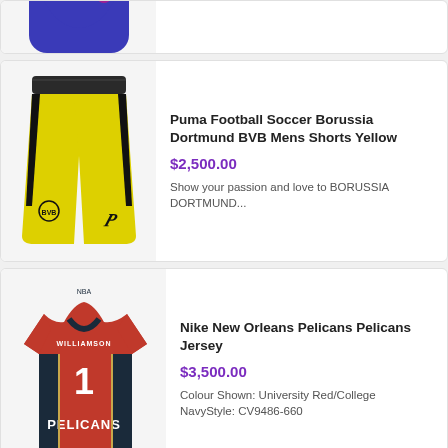[Figure (photo): Partial view of a blue and pink patterned jersey/tank top from a previous product listing]
[Figure (photo): Yellow and black Puma Football Soccer Borussia Dortmund BVB Mens Shorts]
Puma Football Soccer Borussia Dortmund BVB Mens Shorts Yellow
$2,500.00
Show your passion and love to BORUSSIA DORTMUND...
[Figure (photo): Red Nike New Orleans Pelicans jersey #1 WILLIAMSON]
Nike New Orleans Pelicans Pelicans Jersey
$3,500.00
Colour Shown: University Red/College NavyStyle: CV9486-660
Atletico Madrid Fans Version Shorts &